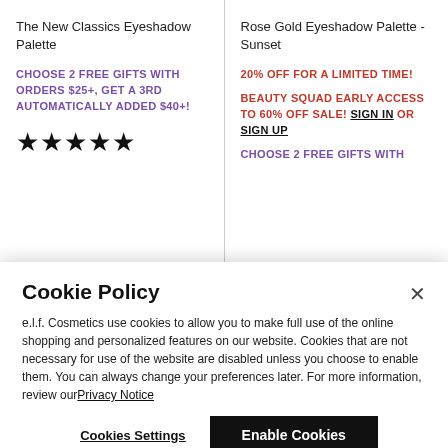The New Classics Eyeshadow Palette
CHOOSE 2 FREE GIFTS WITH ORDERS $25+, GET A 3RD AUTOMATICALLY ADDED $40+!
[Figure (other): 4.5 star rating shown as filled and half-filled star icons]
Rose Gold Eyeshadow Palette - Sunset
20% OFF FOR A LIMITED TIME!
BEAUTY SQUAD EARLY ACCESS TO 60% OFF SALE! SIGN IN OR SIGN UP
CHOOSE 2 FREE GIFTS WITH
Cookie Policy
e.l.f. Cosmetics use cookies to allow you to make full use of the online shopping and personalized features on our website. Cookies that are not necessary for use of the website are disabled unless you choose to enable them. You can always change your preferences later. For more information, review our Privacy Notice
Cookies Settings
Enable Cookies